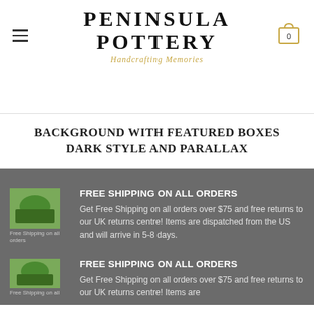PENINSULA POTTERY — Handcrafting Memories
BACKGROUND WITH FEATURED BOXES DARK STYLE AND PARALLAX
FREE SHIPPING ON ALL ORDERS
Get Free Shipping on all orders over $75 and free returns to our UK returns centre! Items are dispatched from the US and will arrive in 5-8 days.
FREE SHIPPING ON ALL ORDERS
Get Free Shipping on all orders over $75 and free returns to our UK returns centre! Items are